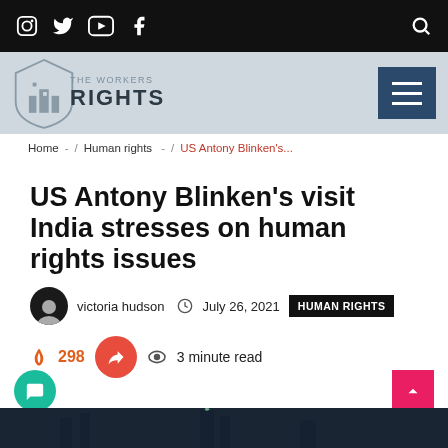Social media icons: Instagram, Twitter, YouTube, Facebook | Search icon
[Figure (logo): The Workers Rights logo - shield badge with buildings icon and text RIGHTS]
Home - / Human rights - / US Antony Blinken's...
US Antony Blinken's visit India stresses on human rights issues
victoria hudson   July 26, 2021   HUMAN RIGHTS
298   3 minute read